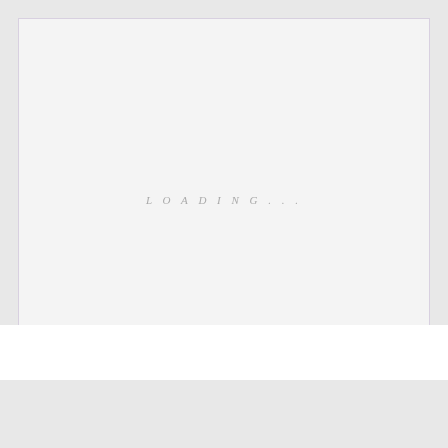[Figure (other): Advertisement loading placeholder box with light gray background and 'LOADING...' text centered, and 'ADVERTISMENT' label at the bottom]
Mirror Skin Versus Glass Skin